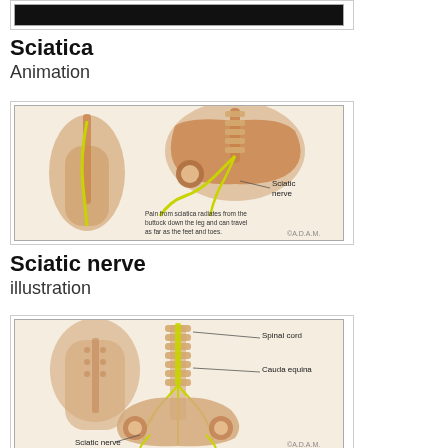[Figure (illustration): Black bar thumbnail for Sciatica Animation video]
Sciatica
Animation
[Figure (illustration): Medical illustration of sciatic nerve showing pain radiating from buttock down the leg to feet and toes, with labeled sciatic nerve]
Sciatic nerve
illustration
[Figure (illustration): Medical illustration showing spinal cord, cauda equina, and sciatic nerve anatomy of the lower back and pelvis]
Cauda equi...